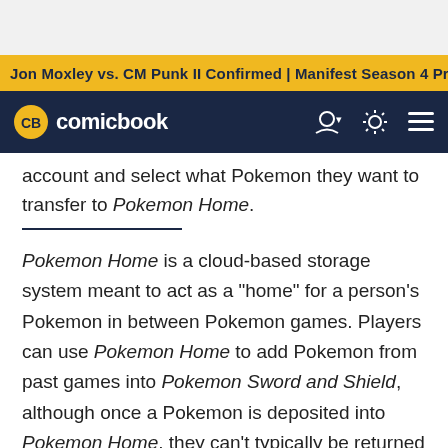Jon Moxley vs. CM Punk II Confirmed | Manifest Season 4 Pr
[Figure (logo): CB comicbook logo in dark navy navigation bar with user icon, brightness/theme icon, and hamburger menu icon]
account and select what Pokemon they want to transfer to Pokemon Home.
Pokemon Home is a cloud-based storage system meant to act as a "home" for a person's Pokemon in between Pokemon games. Players can use Pokemon Home to add Pokemon from past games into Pokemon Sword and Shield, although once a Pokemon is deposited into Pokemon Home, they can't typically be returned into older Pokemon games. That includes Pokemon Go, as Pokemon Home re-formats the Pokemon with moves, natures, and abilities that aren't functional in Pokemon Go.